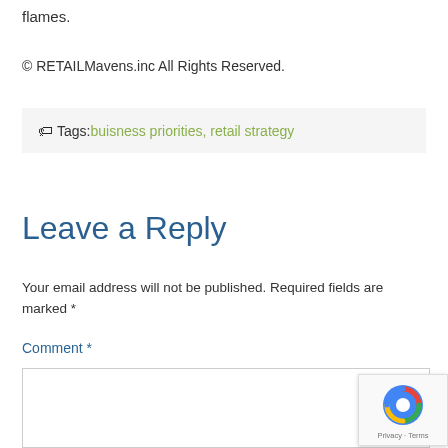flames.
© RETAILMavens.inc All Rights Reserved.
Tags: buisness priorities, retail strategy
Leave a Reply
Your email address will not be published. Required fields are marked *
Comment *